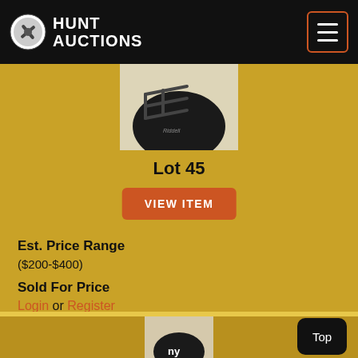[Figure (logo): Hunt Auctions logo with circular emblem and white text on black header bar]
[Figure (photo): Football helmet photo cropped at top, dark helmet with face mask visible on tan background]
Lot 45
VIEW ITEM
Est. Price Range
($200-$400)
Sold For Price
Login or Register
[Figure (photo): Second football helmet photo, dark helmet with white markings, partially visible at bottom of page]
Top